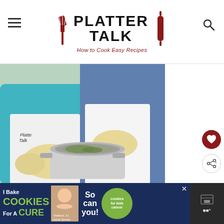PLATTER TALK - How to Cook Easy Recipes
[Figure (photo): Two people wearing white aprons and oven mitts holding a stainless steel pot with food inside, kitchen background]
WELCOME TO OUR FAMILY TABLE!
[Figure (infographic): Advertisement banner: I Bake COOKIES For A CURE - Haidora, 11 Cancer Survivor - So can you! - cookies for kids cancer]